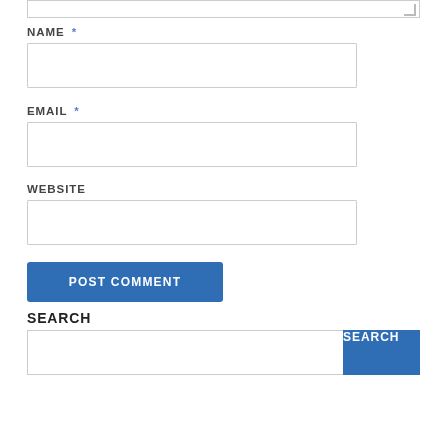[textarea top edge]
NAME *
[name input field]
EMAIL *
[email input field]
WEBSITE
[website input field]
POST COMMENT
SEARCH
SEARCH [button]